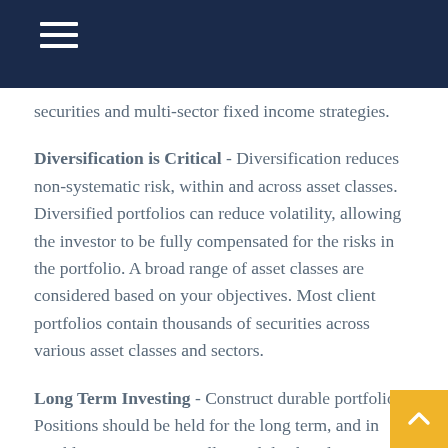securities and multi-sector fixed income strategies.
Diversification is Critical - Diversification reduces non-systematic risk, within and across asset classes. Diversified portfolios can reduce volatility, allowing the investor to be fully compensated for the risks in the portfolio. A broad range of asset classes are considered based on your objectives. Most client portfolios contain thousands of securities across various asset classes and sectors.
Long Term Investing - Construct durable portfolios. Positions should be held for the long term, and in taxable accounts, optimally until death to leverage stepped-up basis. It is challenging to hold individual securities for such long periods since the criteria to buy, may eventually result in the criteria to sell. Strategic investing builds wealth, while tactical trading creates more taxable events.